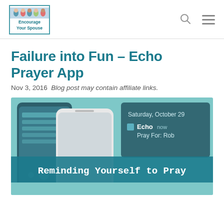Encourage Your Spouse
Failure into Fun – Echo Prayer App
Nov 3, 2016 Blog post may contain affiliate links.
[Figure (screenshot): Screenshot of the Echo Prayer app on a smartphone showing a notification: 'Saturday, October 29 — Echo now — Pray For: Rob' with text overlay 'Reminding Yourself to Pray' on a teal background]